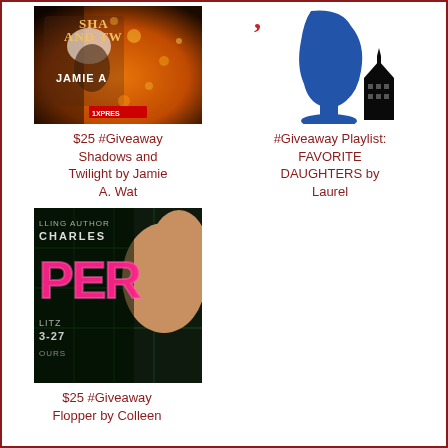[Figure (illustration): Book cover for Shadows and Twilight by Jamie A. Wat — partial cover visible, woman in dark clothing with orange bokeh background, text 'SHAD AND TW', 'JAMIE A', '1XPRES']
[Figure (illustration): Book cover for Favorite Daughters by Laurel — blue silhouette of a face/head in profile with a dark building silhouette in background on white]
$25 #Giveaway Shadows and Twilight by Jamie A. Wat
#Giveaway Playlist: FAVORITE DAUGHTERS by Laurel
[Figure (illustration): Book cover for Flopper by Colleen — dark background with pink neon letters 'PER', 'CHARLES', 'LLING AUTHOR', 'LITZ 3-27', 'OURS', partial view of a person's shoulder/head]
$25 #Giveaway Flopper by Colleen